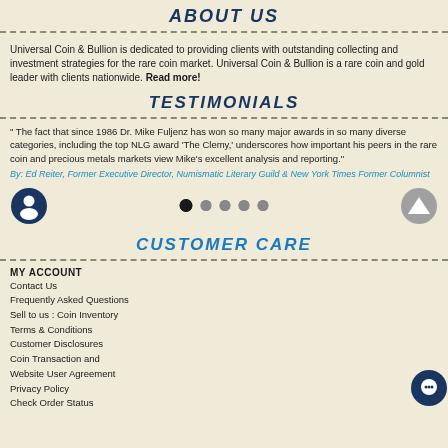ABOUT US
Universal Coin & Bullion is dedicated to providing clients with outstanding collecting and investment strategies for the rare coin market. Universal Coin & Bullion is a rare coin and gold leader with clients nationwide. Read more!
TESTIMONIALS
" The fact that since 1986 Dr. Mike Fuljenz has won so many major awards in so many diverse categories, including the top NLG award 'The Clemy,' underscores how important his peers in the rare coin and precious metals markets view Mike's excellent analysis and reporting."
By: Ed Reiter, Former Executive Director, Numismatic Literary Guild & New York Times Former Columnist
[Figure (infographic): Navigation row with person icon on left, five pagination dots in center (first dot filled black, others gray), and up-arrow button on right]
CUSTOMER CARE
MY ACCOUNT
Contact Us
Frequently Asked Questions
Sell to us : Coin Inventory
Terms & Conditions
Customer Disclosures
Coin Transaction and Website User Agreement
Privacy Policy
Check Order Status
[Figure (illustration): Chat bubble icon in dark navy circle, bottom right corner]